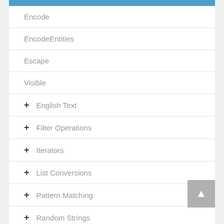Encode
EncodeEntities
Escape
Visible
English Text
Filter Operations
Iterators
List Conversions
Pattern Matching
Random Strings
String Sorting